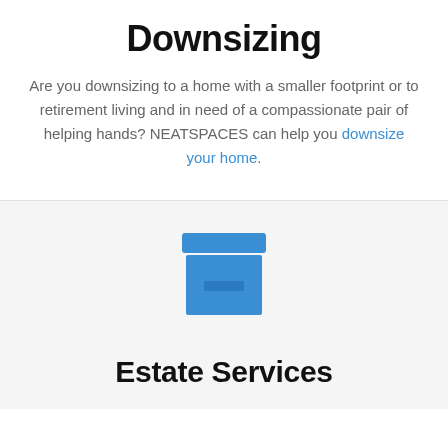Downsizing
Are you downsizing to a home with a smaller footprint or to retirement living and in need of a compassionate pair of helping hands? NEATSPACES can help you downsize your home.
[Figure (illustration): Blue archive box icon with a lid on top]
Estate Services